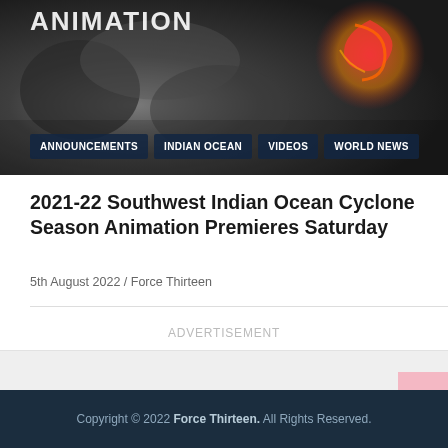[Figure (photo): Hero image of cyclone satellite view with dark stormy ocean, red/orange swirl overlay at top right]
ANIMATION
ANNOUNCEMENTS
INDIAN OCEAN
VIDEOS
WORLD NEWS
2021-22 Southwest Indian Ocean Cyclone Season Animation Premieres Saturday
5th August 2022 / Force Thirteen
ADVERTISEMENT
Copyright © 2022 Force Thirteen. All Rights Reserved.